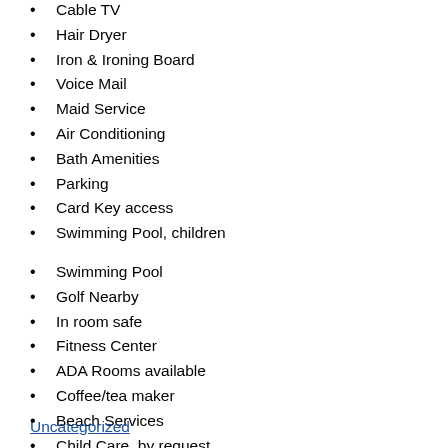Cable TV
Hair Dryer
Iron & Ironing Board
Voice Mail
Maid Service
Air Conditioning
Bath Amenities
Parking
Card Key access
Swimming Pool, children
Swimming Pool
Golf Nearby
In room safe
Fitness Center
ADA Rooms available
Coffee/tea maker
Beach Services
Child Care, by request
Activities Desk
Uncategorized